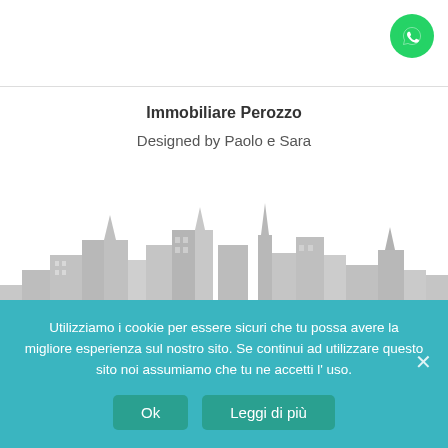[Figure (logo): WhatsApp green circular button icon in top right corner]
Immobiliare Perozzo
Designed by Paolo e Sara
[Figure (illustration): Gray city skyline silhouette illustration]
Utilizziamo i cookie per essere sicuri che tu possa avere la migliore esperienza sul nostro sito. Se continui ad utilizzare questo sito noi assumiamo che tu ne accetti l' uso.
Ok  Leggi di più